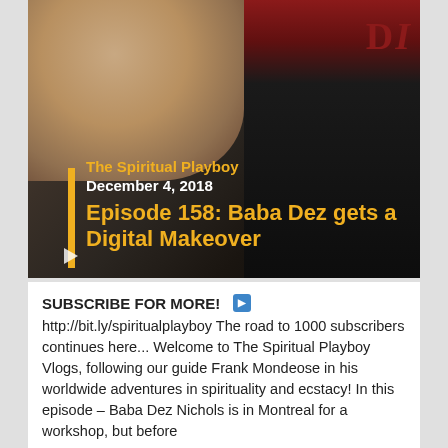[Figure (screenshot): Video thumbnail showing a man's face with beard and mustache, a dark cylindrical object (microphone) on the right, and text overlay showing 'The Spiritual Playboy', 'December 4, 2018', and 'Episode 158: Baba Dez gets a Digital Makeover' in yellow and white text with a yellow vertical bar accent. 'DI' text visible top-right in dark red. Play button at bottom left.]
SUBSCRIBE FOR MORE! ▶ http://bit.ly/spiritualplayboy The road to 1000 subscribers continues here... Welcome to The Spiritual Playboy Vlogs, following our guide Frank Mondeose in his worldwide adventures in spirituality and ecstacy! In this episode – Baba Dez Nichols is in Montreal for a workshop, but before the ISTA...